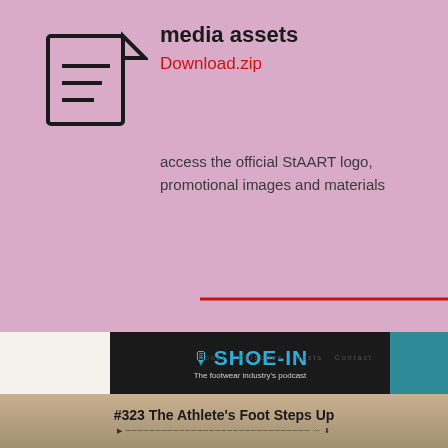[Figure (illustration): Document/notepad icon with three horizontal lines, styled outline of a paper with folded corner]
media assets
Download.zip
access the official StAART logo, promotional images and materials
[Figure (screenshot): Screenshot of Shoe-In podcast website showing logo, navigation bar with About, Episodes, Hosts, Contact links, a teal subscribe button, and episode #323 The Athlete's Foot Steps Up with audio player controls]